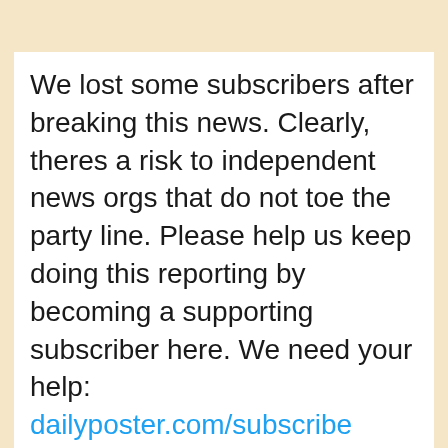We lost some subscribers after breaking this news. Clearly, theres a risk to independent news orgs that do not toe the party line. Please help us keep doing this reporting by becoming a supporting subscriber here. We need your help: dailyposter.com/subscribe
[Figure (other): Empty rounded rectangle box, light gray background, possibly a placeholder for an embedded tweet or image]